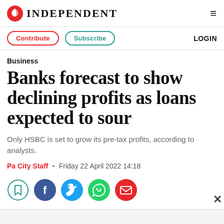INDEPENDENT
Business
Banks forecast to show declining profits as loans expected to sour
Only HSBC is set to grow its pre-tax profits, according to analysts.
Pa City Staff • Friday 22 April 2022 14:18